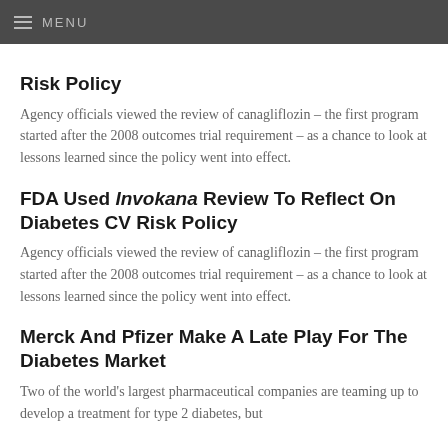MENU
Risk Policy
Agency officials viewed the review of canagliflozin – the first program started after the 2008 outcomes trial requirement – as a chance to look at lessons learned since the policy went into effect.
FDA Used Invokana Review To Reflect On Diabetes CV Risk Policy
Agency officials viewed the review of canagliflozin – the first program started after the 2008 outcomes trial requirement – as a chance to look at lessons learned since the policy went into effect.
Merck And Pfizer Make A Late Play For The Diabetes Market
Two of the world's largest pharmaceutical companies are teaming up to develop a treatment for type 2 diabetes, but